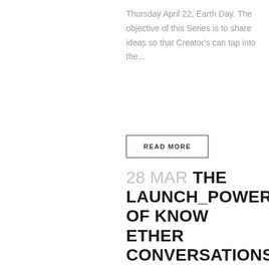Thursday April 22, Earth Day. The objective of this Series is to share ideas so that Creator's can tap into the...
READ MORE
28 MAR THE LAUNCH_POWER OF KNOW ETHER CONVERSATIONS
Posted at 09:18h in Uncategorized by DAM • 0 Comments • 0 Likes